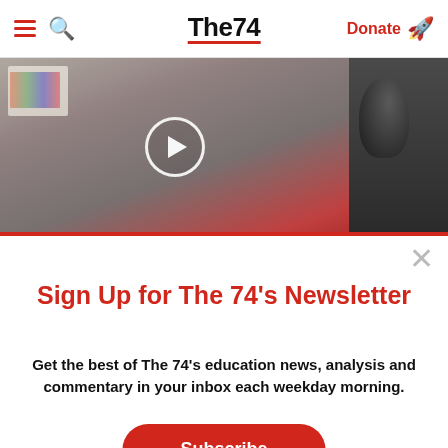The74 — navigation bar with hamburger menu, search, logo, Donate button
[Figure (photo): Video thumbnail showing a woman with short gray hair and glasses, wearing a red top, with a colormap chart visible to the left. A circular play button is overlaid in the center. A second partially visible image is to the right.]
Sign Up for The 74's Newsletter
Get the best of The 74's education news, analysis and commentary in your inbox each weekday morning.
Subscribe